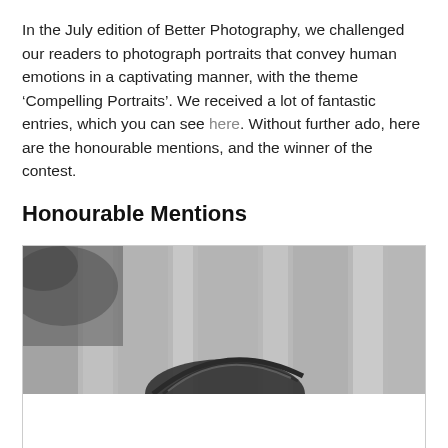In the July edition of Better Photography, we challenged our readers to photograph portraits that convey human emotions in a captivating manner, with the theme ‘Compelling Portraits’. We received a lot of fantastic entries, which you can see here. Without further ado, here are the honourable mentions, and the winner of the contest.
Honourable Mentions
[Figure (photo): Black and white photograph cropped to show what appears to be the top of a person's head with a curved element (possibly a hat or glasses frame) and a blurred architectural background with columns or vertical structures.]